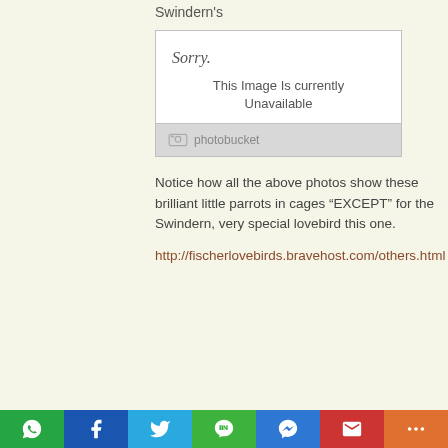Swindern's
[Figure (screenshot): Photobucket 'Sorry. This Image Is currently Unavailable' placeholder image with photobucket logo footer]
Notice how all the above photos show these brilliant little parrots in cages “EXCEPT” for the Swindern, very special lovebird this one.
http://fischerlovebirds.bravehost.com/others.html